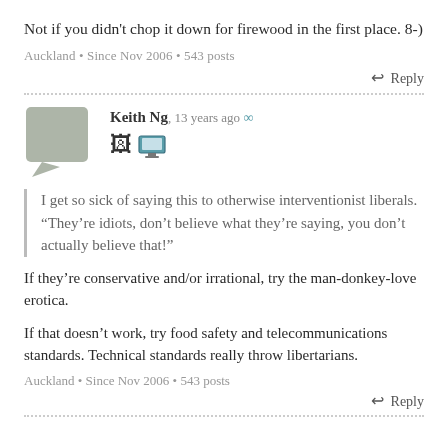Not if you didn't chop it down for firewood in the first place. 8-)
Auckland • Since Nov 2006 • 543 posts
↩ Reply
Keith Ng, 13 years ago ∞
I get so sick of saying this to otherwise interventionist liberals. “They’re idiots, don’t believe what they’re saying, you don’t actually believe that!”
If they’re conservative and/or irrational, try the man-donkey-love erotica.
If that doesn’t work, try food safety and telecommunications standards. Technical standards really throw libertarians.
Auckland • Since Nov 2006 • 543 posts
↩ Reply